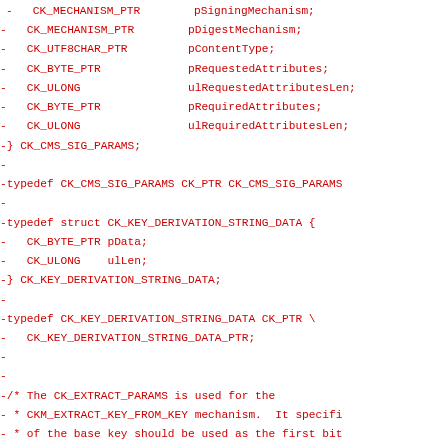-   CK_MECHANISM_PTR        pSigningMechanism;
-   CK_MECHANISM_PTR        pDigestMechanism;
-   CK_UTF8CHAR_PTR         pContentType;
-   CK_BYTE_PTR             pRequestedAttributes;
-   CK_ULONG                ulRequestedAttributesLen;
-   CK_BYTE_PTR             pRequiredAttributes;
-   CK_ULONG                ulRequiredAttributesLen;
-} CK_CMS_SIG_PARAMS;
-
-typedef CK_CMS_SIG_PARAMS CK_PTR CK_CMS_SIG_PARAMS
-
-typedef struct CK_KEY_DERIVATION_STRING_DATA {
-   CK_BYTE_PTR pData;
-   CK_ULONG    ulLen;
-} CK_KEY_DERIVATION_STRING_DATA;
-
-typedef CK_KEY_DERIVATION_STRING_DATA CK_PTR \
-   CK_KEY_DERIVATION_STRING_DATA_PTR;
-
-
-/* The CK_EXTRACT_PARAMS is used for the
- * CKM_EXTRACT_KEY_FROM_KEY mechanism.  It specifi
- * of the base key should be used as the first bit
- * derived key */
-/* CK_EXTRACT_PARAMS is new for v2.0 */
-typedef CK_ULONG CK_EXTRACT_PARAMS;
-
-typedef CK_EXTRACT_PARAMS CK_PTR CK_EXTRACT_PARAMS
-
-/* CK_PKCS5_PBKD2_PSEUDO_RANDOM_FUNCTION_TYPE is